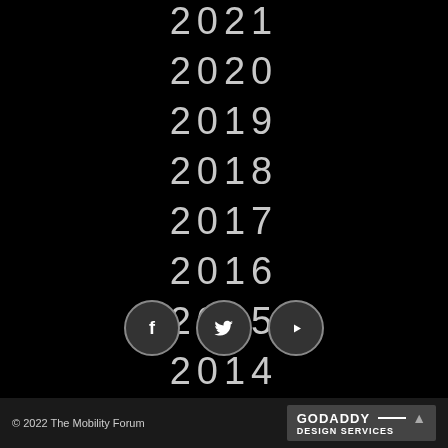2021
2020
2019
2018
2017
2016
2015
2014
[Figure (infographic): Three circular social media icons: Facebook (f), Twitter (bird), YouTube (play button), dark circle with light border]
© 2022 The Mobility Forum   GODADDY — DESIGN SERVICES